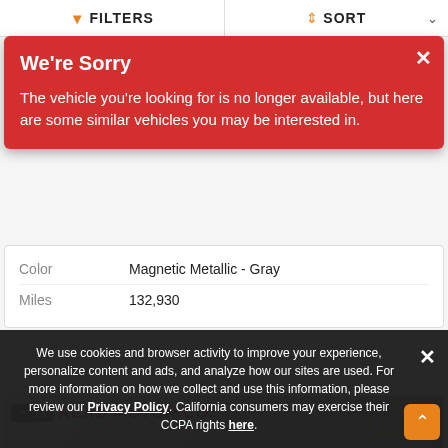FILTERS   SORT
We're Sorry

The vehicle you're looking for is no longer available, but here are some similar vehicles you may be interested in.
|  |  |
| --- | --- |
| Color | Magnetic Metallic - Gray |
| Miles | 132,930 |
Advertisement
[Figure (photo): Dealer sign showing READ MOTOR CO. with photo count badge showing 13 photos, and favourite/compare buttons]
We use cookies and browser activity to improve your experience, personalize content and ads, and analyze how our sites are used. For more information on how we collect and use this information, please review our Privacy Policy. California consumers may exercise their CCPA rights here.